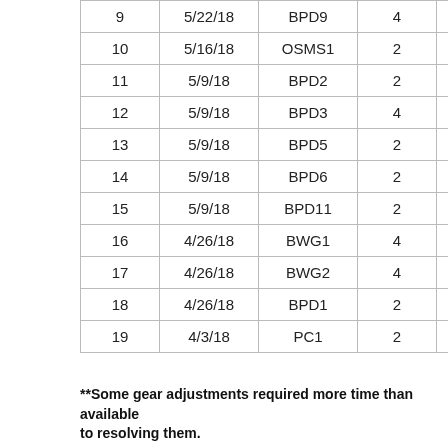| 9 | 5/22/18 | BPD9 | 4 |  |
| 10 | 5/16/18 | OSMS1 | 2 |  |
| 11 | 5/9/18 | BPD2 | 2 |  |
| 12 | 5/9/18 | BPD3 | 4 |  |
| 13 | 5/9/18 | BPD5 | 2 |  |
| 14 | 5/9/18 | BPD6 | 2 |  |
| 15 | 5/9/18 | BPD11 | 2 |  |
| 16 | 4/26/18 | BWG1 | 4 |  |
| 17 | 4/26/18 | BWG2 | 4 |  |
| 18 | 4/26/18 | BPD1 | 2 |  |
| 19 | 4/3/18 | PC1 | 2 |  |
**Some gear adjustments required more time than available to resolving them.